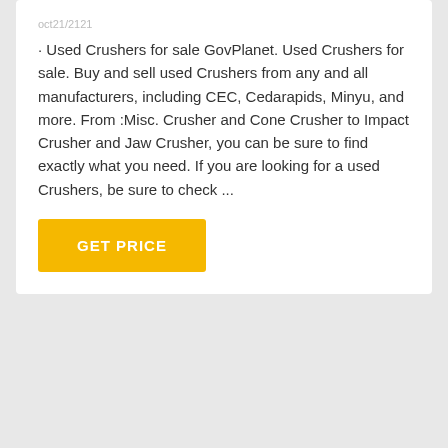oct21/2121
· Used Crushers for sale GovPlanet. Used Crushers for sale. Buy and sell used Crushers from any and all manufacturers, including CEC, Cedarapids, Minyu, and more. From :Misc. Crusher and Cone Crusher to Impact Crusher and Jaw Crusher, you can be sure to find exactly what you need. If you are looking for a used Crushers, be sure to check ...
GET PRICE